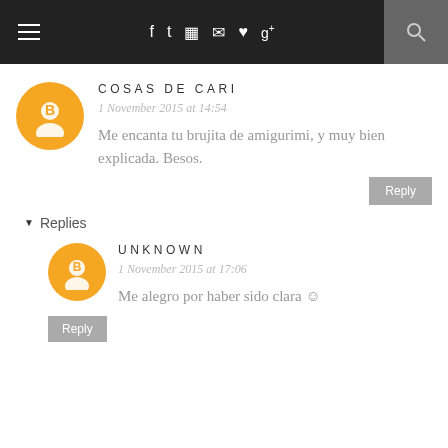≡ f t ☷ ℗ ♥ g+ 🔍
COSAS DE CARI
1 November 2015 at 14:54
Me encanta tu brujita de amigurimi, y muy bien explicada. Besos.
▾ Replies
UNKNOWN
1 November 2015 at 17:06
Me alegro por haber sido clara ☺